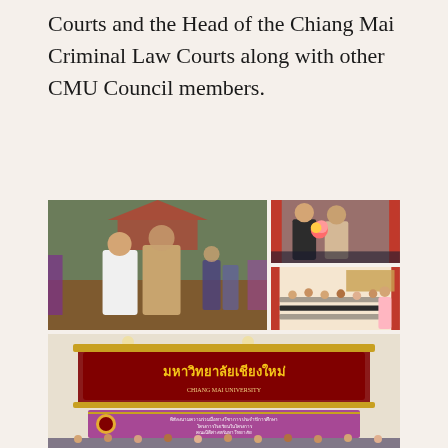Courts and the Head of the Chiang Mai Criminal Law Courts along with other CMU Council members.
[Figure (photo): Collage of four photographs: top-left shows two men standing outdoors in front of a Thai temple with women in traditional dress behind them; top-right upper shows two men exchanging flowers indoors; top-right lower shows a group in a hall event; bottom shows a large group indoors under a Chiang Mai University sign in Thai script.]